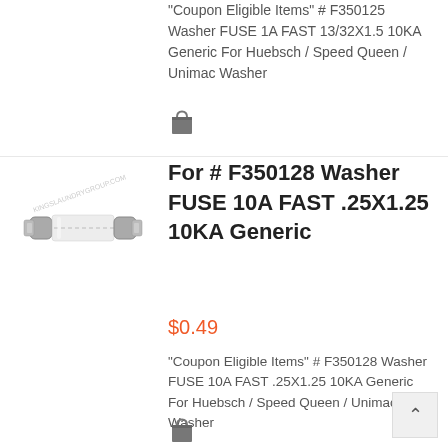"Coupon Eligible Items" # F350125 Washer FUSE 1A FAST 13/32X1.5 10KA Generic For Huebsch / Speed Queen / Unimac Washer
[Figure (photo): Glass fuse with metal end caps - a small cylindrical fuse component]
For # F350128 Washer FUSE 10A FAST .25X1.25 10KA Generic
$0.49
"Coupon Eligible Items" # F350128 Washer FUSE 10A FAST .25X1.25 10KA Generic For Huebsch / Speed Queen / Unimac Washer